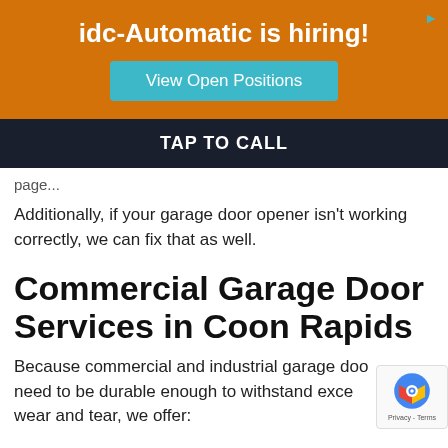[Figure (infographic): Orange banner with text 'idc-Automatic is hiring!' and a teal 'View Open Positions' button. A small teal X close button is in the top right.]
TAP TO CALL
page...
Additionally, if your garage door opener isn't working correctly, we can fix that as well.
Commercial Garage Door Services in Coon Rapids
Because commercial and industrial garage door need to be durable enough to withstand exce wear and tear, we offer: